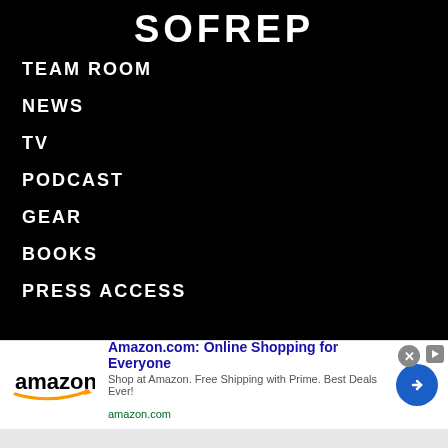SOFREP
TEAM ROOM
NEWS
TV
PODCAST
GEAR
BOOKS
PRESS ACCESS
[Figure (screenshot): Amazon advertisement banner: Amazon logo on left, title 'Amazon.com: Online Shopping for Everyone', description 'Shop at Amazon. Free Shipping with Prime. Best Deals Ever!', URL 'amazon.com', blue circular arrow button on right, close X button top right]